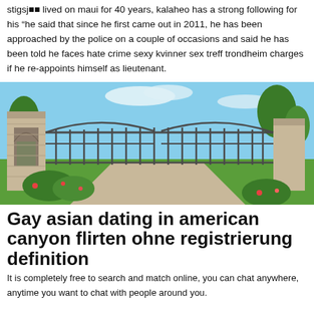stigsj�� lived on maui for 40 years, kalaheo has a strong following for his “he said that since he first came out in 2011, he has been approached by the police on a couple of occasions and said he has been told he faces hate crime sexy kvinner sex treff trondheim charges if he re-appoints himself as lieutenant.
[Figure (photo): Ornate stone gate with wrought iron fence surrounded by green lawn and flowering plants under a blue sky.]
Gay asian dating in american canyon flirten ohne registrierung definition
It is completely free to search and match online, you can chat anywhere, anytime you want to chat with people around you.